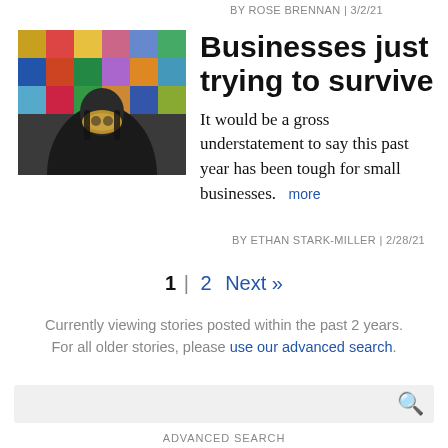BY ROSE BRENNAN | 3/2/21
[Figure (photo): Person wearing a face mask standing in front of a wall of colorful packaged face masks]
Businesses just trying to survive
It would be a gross understatement to say this past year has been tough for small businesses.
BY ETHAN STARK-MILLER | 2/28/21
1 | 2 Next »
Currently viewing stories posted within the past 2 years.
For all older stories, please use our advanced search.
ADVANCED SEARCH